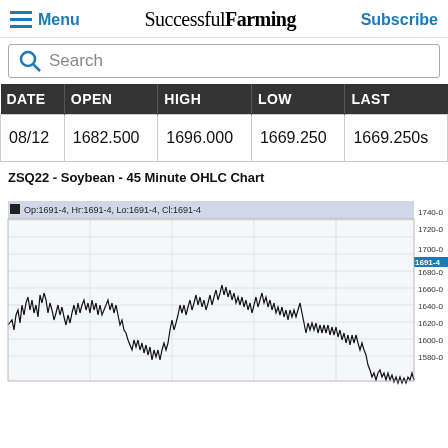Menu | Successful Farming | Subscribe
Search
| DATE | OPEN | HIGH | LOW | LAST |
| --- | --- | --- | --- | --- |
| 08/12 | 1682.500 | 1696.000 | 1669.250 | 1669.250s |
ZSQ22 - Soybean - 45 Minute OHLC Chart
[Figure (continuous-plot): ZSQ22 Soybean 45 Minute OHLC Chart. Op:1691-4, Hr:1691-4, Lo:1691-4, Cl:1691-4. Y-axis ranges from 1580-0 to 1740-0. Chart shows candlestick/OHLC price action with significant price swings. Current highlighted level around 1691-4.]